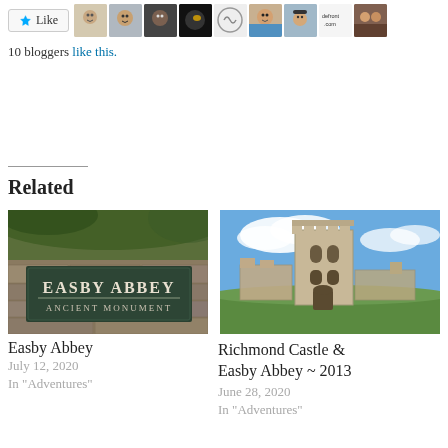[Figure (screenshot): Like button and blogger avatars row at top of page]
10 bloggers like this.
Related
[Figure (photo): Sign reading EASBY ABBEY ANCIENT MONUMENT on stone wall with greenery]
Easby Abbey
July 12, 2020
In "Adventures"
[Figure (photo): Richmond Castle ruins with tower against blue sky with clouds]
Richmond Castle & Easby Abbey ~ 2013
June 28, 2020
In "Adventures"
[Figure (photo): Bokeh Christmas lights in warm tones]
The Christmas Fraggle Report.
December 26, 2014